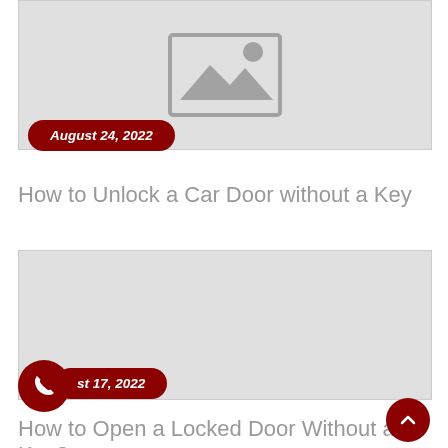[Figure (illustration): Gray placeholder image with mountain and sun icon]
August 24, 2022
How to Unlock a Car Door without a Key
[Figure (illustration): Gray placeholder image area (second card, empty)]
st 17, 2022
How to Open a Locked Door Without a Key?